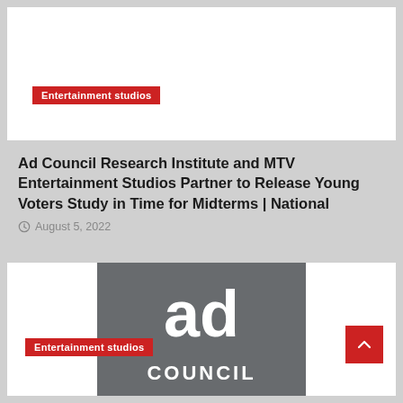[Figure (other): White card area at top of page with Entertainment studios badge]
Entertainment studios
Ad Council Research Institute and MTV Entertainment Studios Partner to Release Young Voters Study in Time for Midterms | National
August 5, 2022
[Figure (logo): Ad Council logo on dark gray background with white 'ad' text and 'COUNCIL' text below, with Entertainment studios badge overlay]
Entertainment studios